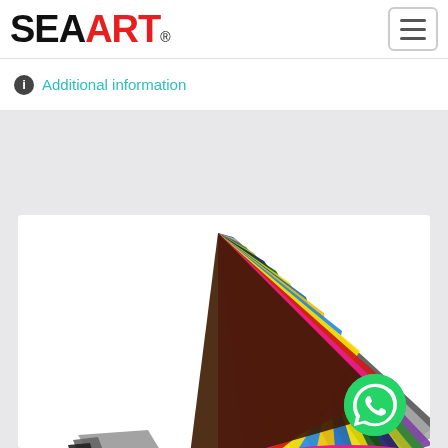SEAART®
ℹ Additional information
[Figure (photo): Stack of colorful acrylic or plastic sheets fanned out in a rainbow arrangement, showing purple, gray, green, olive, dark blue, dark green, yellow, blue, yellow, blue, yellow, red, pink, and dark colors, displayed on a white background inside a white card/box on a light gray page background. A WhatsApp contact button (green circle with phone icon) appears in the lower right corner.]